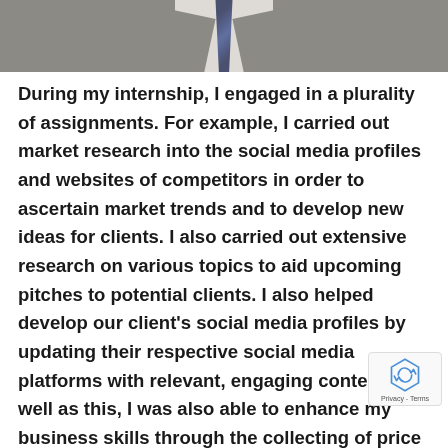[Figure (photo): Cropped photo of a person wearing a grey suit and blue patterned tie, showing the chest/collar area only]
During my internship, I engaged in a plurality of assignments. For example, I carried out market research into the social media profiles and websites of competitors in order to ascertain market trends and to develop new ideas for clients. I also carried out extensive research on various topics to aid upcoming pitches to potential clients. I also helped develop our client's social media profiles by updating their respective social media platforms with relevant, engaging content. As well as this, I was also able to enhance my business skills through the collecting of price quotes for costs concerning an upcoming that Astley Media is organising in the near futu Finally, I also helped in the progression of the annual